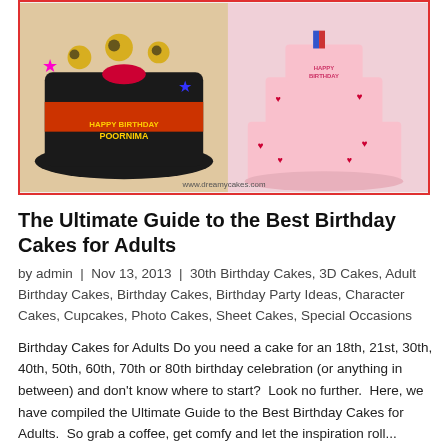[Figure (photo): Two birthday cakes displayed side by side: a black and red chocolate decorated cake with 'Happy Birthday Poornima' text and leopard pattern on the left, and a pink tiered cake with hearts for 'Happy Birthday Tara' on the right. Website watermark www.dreamycakes.com at bottom.]
The Ultimate Guide to the Best Birthday Cakes for Adults
by admin | Nov 13, 2013 | 30th Birthday Cakes, 3D Cakes, Adult Birthday Cakes, Birthday Cakes, Birthday Party Ideas, Character Cakes, Cupcakes, Photo Cakes, Sheet Cakes, Special Occasions
Birthday Cakes for Adults Do you need a cake for an 18th, 21st, 30th, 40th, 50th, 60th, 70th or 80th birthday celebration (or anything in between) and don't know where to start?  Look no further.  Here, we have compiled the Ultimate Guide to the Best Birthday Cakes for Adults.  So grab a coffee, get comfy and let the inspiration roll... Birthday cakes for adults can be just as fun as a cake for the kids. If you are planning a